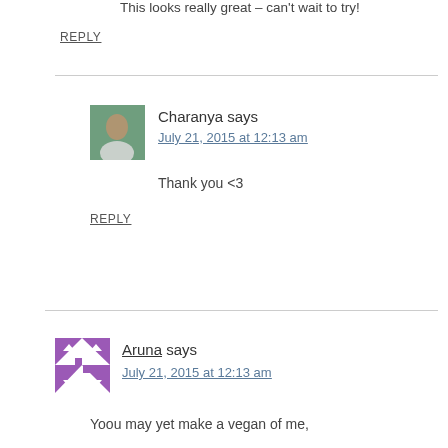This looks really great – can't wait to try!
REPLY
Charanya says
July 21, 2015 at 12:13 am
Thank you <3
REPLY
Aruna says
July 21, 2015 at 12:13 am
Yoou may yet make a vegan of me,